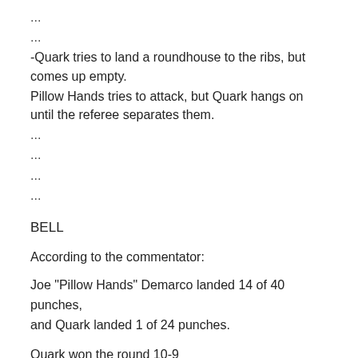...
...
-Quark tries to land a roundhouse to the ribs, but comes up empty.
Pillow Hands tries to attack, but Quark hangs on until the referee separates them.
...
...
...
...
BELL
According to the commentator:
Joe "Pillow Hands" Demarco landed 14 of 40 punches, and Quark landed 1 of 24 punches.
Quark won the round 10-9